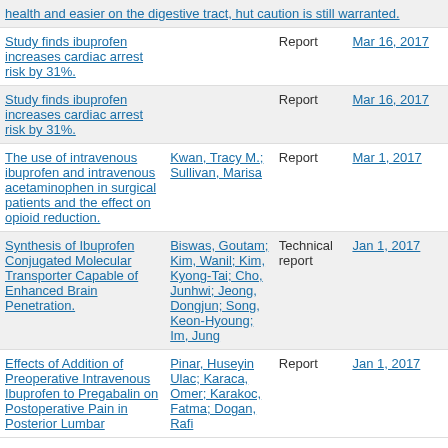| Title | Author | Type | Date |
| --- | --- | --- | --- |
| health and easier on the digestive tract, hut caution is still warranted. |  |  |  |
| Study finds ibuprofen increases cardiac arrest risk by 31%. |  | Report | Mar 16, 2017 |
| Study finds ibuprofen increases cardiac arrest risk by 31%. |  | Report | Mar 16, 2017 |
| The use of intravenous ibuprofen and intravenous acetaminophen in surgical patients and the effect on opioid reduction. | Kwan, Tracy M.; Sullivan, Marisa | Report | Mar 1, 2017 |
| Synthesis of Ibuprofen Conjugated Molecular Transporter Capable of Enhanced Brain Penetration. | Biswas, Goutam; Kim, Wanil; Kim, Kyong-Tai; Cho, Junhwi; Jeong, Dongjun; Song, Keon-Hyoung; Im, Jung | Technical report | Jan 1, 2017 |
| Effects of Addition of Preoperative Intravenous Ibuprofen to Pregabalin on Postoperative Pain in Posterior Lumbar... | Pinar, Huseyin Ulac; Karaca, Omer; Karakoc, Fatma; Dogan, Rafi... | Report | Jan 1, 2017 |